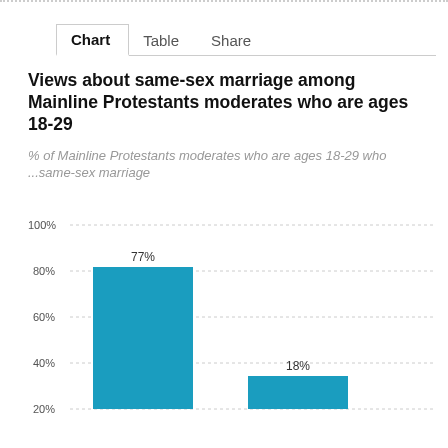Chart | Table | Share
Views about same-sex marriage among Mainline Protestants moderates who are ages 18-29
% of Mainline Protestants moderates who are ages 18-29 who ...same-sex marriage
[Figure (bar-chart): Views about same-sex marriage among Mainline Protestants moderates who are ages 18-29]